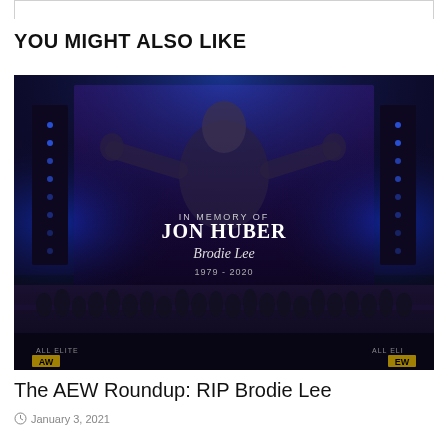YOU MIGHT ALSO LIKE
[Figure (photo): A wrestling arena stage with a large screen displaying 'IN MEMORY OF JON HUBER Brodie Lee 1979 - 2020' with a silhouette of a man with arms outstretched. A crowd of people stands on the lit stage below with blue lighting effects. AEW (All Elite Wrestling) logos visible.]
The AEW Roundup: RIP Brodie Lee
January 3, 2021